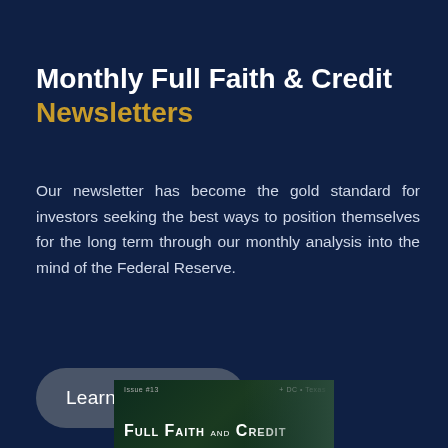Monthly Full Faith & Credit Newsletters
Our newsletter has become the gold standard for investors seeking the best ways to position themselves for the long term through our monthly analysis into the mind of the Federal Reserve.
[Figure (other): A 'Learn More' button with a right arrow chevron icon, rendered as a dark rounded pill-shaped button on a dark navy background.]
[Figure (other): Partial newsletter cover image at the bottom center showing 'Full Faith and Credit' text with faces/portraits on a dark green background.]